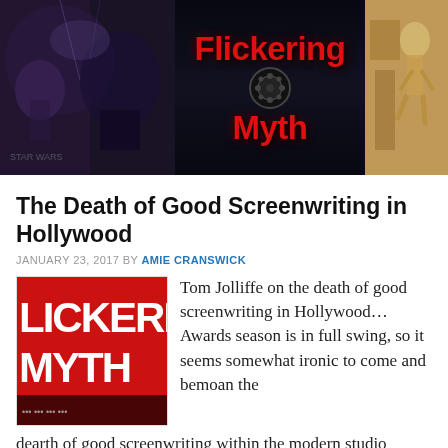[Figure (screenshot): Flickering Myth website header banner showing movie imagery on left and right with the Flickering Myth logo (red stylized text with film reel) centered on dark background]
The Death of Good Screenwriting in Hollywood
JANUARY 23, 2017 BY AMIE CRANSWICK
[Figure (logo): Flickering Myth logo image showing red background with white text LICKERIN and MYTH partially visible]
Tom Jolliffe on the death of good screenwriting in Hollywood… Awards season is in full swing, so it seems somewhat ironic to come and bemoan the dearth of good screenwriting within the modern studio system, but I'm going to anyway. Putting